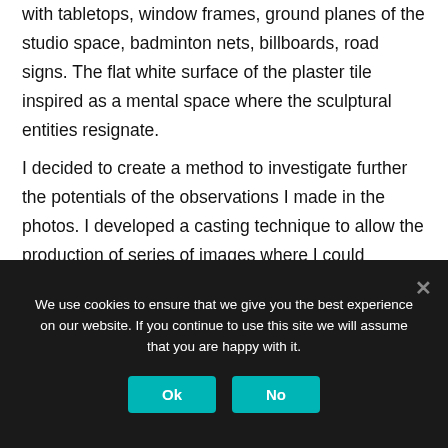with tabletops, window frames, ground planes of the studio space, badminton nets, billboards, road signs. The flat white surface of the plaster tile inspired as a mental space where the sculptural entities resignate.

I decided to create a method to investigate further the potentials of the observations I made in the photos. I developed a casting technique to allow the production of series of images where I could investigate the position where drawing and sculpture go hand in hand. According to Jean-Marc Besse these images, and the sequence of the different forms of the images, is establishing the path
We use cookies to ensure that we give you the best experience on our website. If you continue to use this site we will assume that you are happy with it.